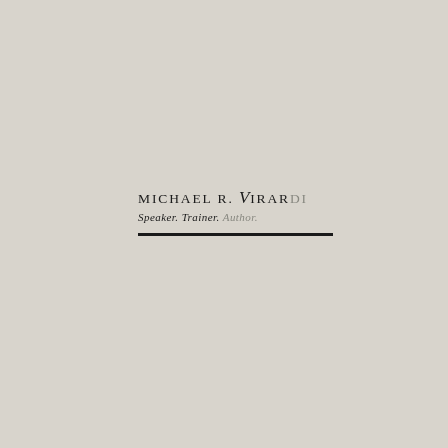[Figure (logo): Michael R. Virardi logo with name, tagline 'Speaker. Trainer. Author.' and a horizontal black divider line]
MICHAEL R. VIRARDI
Speaker. Trainer. Author.